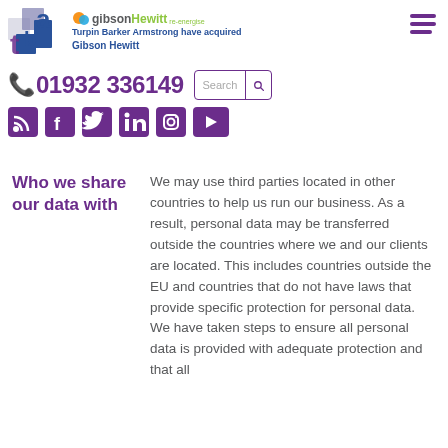[Figure (logo): TBA (Turpin Barker Armstrong) logo with Gibson Hewitt re-energise co-branding, phone number 01932 336149, search bar, and social media icons (RSS, Facebook, Twitter, LinkedIn, Instagram, YouTube)]
Who we share our data with
We may use third parties located in other countries to help us run our business.  As a result, personal data may be transferred outside the countries where we and our clients are located.  This includes countries outside the EU and countries that do not have laws that provide specific protection for personal data.  We have taken steps to ensure all personal data is provided with adequate protection and that all